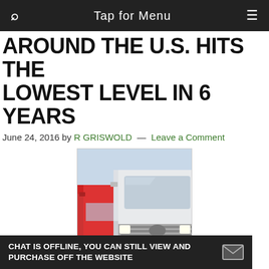🔍  Tap for Menu  ≡
AROUND THE U.S. HITS THE LOWEST LEVEL IN 6 YEARS
June 24, 2016 by R GRISWOLD — Leave a Comment
[Figure (photo): Two large semi-trucks (white International trucks) parked in a parking lot, front-facing view]
By Michael Snyder, on June 23rd, 2016 When less stuff is being bought, sold and shipped around the country with
CHAT IS OFFLINE, YOU CAN STILL VIEW AND PURCHASE OFF THE WEBSITE